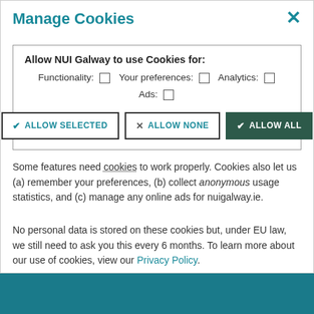Manage Cookies
Allow NUI Galway to use Cookies for: Functionality: [ ] Your preferences: [ ] Analytics: [ ] Ads: [ ]
ALLOW SELECTED | ALLOW NONE | ALLOW ALL
Some features need cookies to work properly. Cookies also let us (a) remember your preferences, (b) collect anonymous usage statistics, and (c) manage any online ads for nuigalway.ie.
No personal data is stored on these cookies but, under EU law, we still need to ask you this every 6 months. To learn more about our use of cookies, view our Privacy Policy.